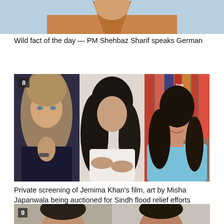[Figure (photo): Partial photo of a man in an orange/tan shirt, cropped from shoulders up, showing torso and lower face against light blue background]
Wild fact of the day — PM Shehbaz Sharif speaks German
[Figure (photo): Composite photo of three women: on the left is Jemima Khan in dark top with long blonde hair; in the center is Misha Japanwala in white top with dark hair; on the right is a woman in light blue top with dark hair in front of a bookshelf. Number 8 badge in top left corner.]
Private screening of Jemima Khan's film, art by Misha Japanwala being auctioned for Sindh flood relief efforts
[Figure (photo): Partial photo of two men, cropped at the bottom of the page. Number 9 badge in top left corner.]